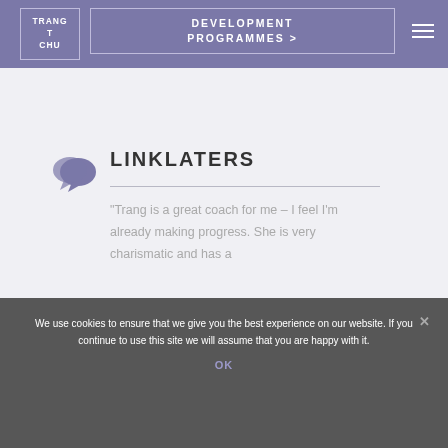[Figure (logo): Logo box with text TRANG T CHU in white on purple background]
DEVELOPMENT PROGRAMMES >
LINKLATERS
“Trang is a great coach for me – I feel I’m already making progress. She is very charismatic and has a
We use cookies to ensure that we give you the best experience on our website. If you continue to use this site we will assume that you are happy with it.
OK